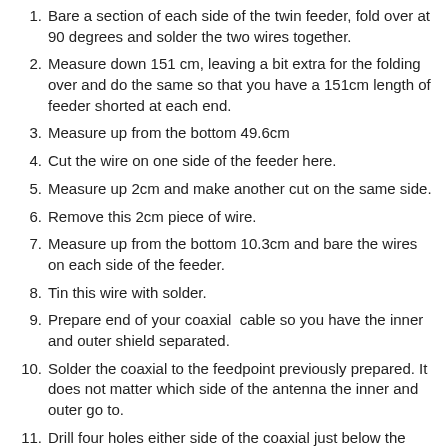Bare a section of each side of the twin feeder, fold over at 90 degrees and solder the two wires together.
Measure down 151 cm, leaving a bit extra for the folding over and do the same so that you have a 151cm length of feeder shorted at each end.
Measure up from the bottom 49.6cm
Cut the wire on one side of the feeder here.
Measure up 2cm and make another cut on the same side.
Remove this 2cm piece of wire.
Measure up from the bottom 10.3cm and bare the wires on each side of the feeder.
Tin this wire with solder.
Prepare end of your coaxial  cable so you have the inner and outer shield separated.
Solder the coaxial to the feedpoint previously prepared. It does not matter which side of the antenna the inner and outer go to.
Drill four holes either side of the coaxial just below the feed point through a solid part of the cable and secure